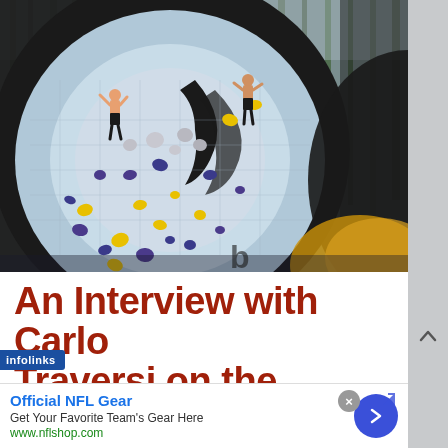[Figure (photo): Outdoor bouldering climbing wall with two climbers on a large circular/curved black and light blue structure with yellow and purple holds, surrounded by tall pine trees. A blurred yellow/orange object is visible in the foreground bottom right.]
An Interview with Carlo Traversi on the Future
[Figure (other): Advertisement banner: Official NFL Gear - Get Your Favorite Team's Gear Here - www.nflshop.com with a blue circular arrow button. Infolinks badge visible. Close X button and external arrow icon also present.]